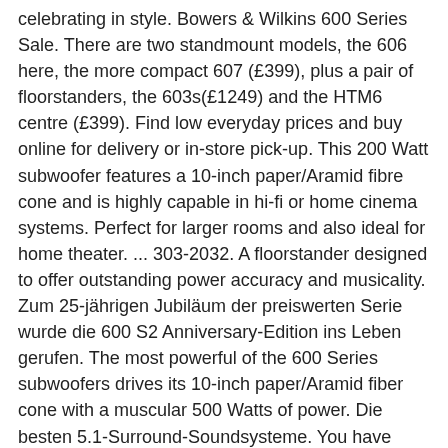celebrating in style. Bowers & Wilkins 600 Series Sale. There are two standmount models, the 606 here, the more compact 607 (£399), plus a pair of floorstanders, the 603s(£1249) and the HTM6 centre (£399). Find low everyday prices and buy online for delivery or in-store pick-up. This 200 Watt subwoofer features a 10-inch paper/Aramid fibre cone and is highly capable in hi-fi or home cinema systems. Perfect for larger rooms and also ideal for home theater. ... 303-2032. A floorstander designed to offer outstanding power accuracy and musicality. Zum 25-jährigen Jubiläum der preiswerten Serie wurde die 600 S2 Anniversary-Edition ins Leben gerufen. The most powerful of the 600 Series subwoofers drives its 10-inch paper/Aramid fiber cone with a muscular 500 Watts of power. Die besten 5.1-Surround-Soundsysteme. You have arrived at the Bowers & Wilkins United States website. Please click 'Yes' below if you would prefer to visit our Italian website. Price:£1,850 www.bowers-wilkins.co.uk . The Acoustic Energy 100 Series is definitely worth considering, especially if you're on a budget. A celebration of